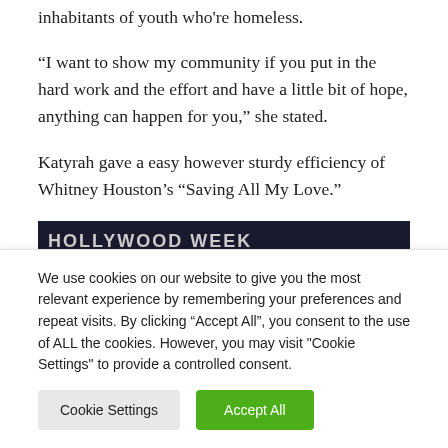inhabitants of youth who're homeless.
“I want to show my community if you put in the hard work and the effort and have a little bit of hope, anything can happen for you,” she stated.
Katyrah gave a easy however sturdy efficiency of Whitney Houston’s “Saving All My Love.”
[Figure (screenshot): Dark banner with text HOLLYWOOD WEEK]
We use cookies on our website to give you the most relevant experience by remembering your preferences and repeat visits. By clicking “Accept All”, you consent to the use of ALL the cookies. However, you may visit "Cookie Settings" to provide a controlled consent.